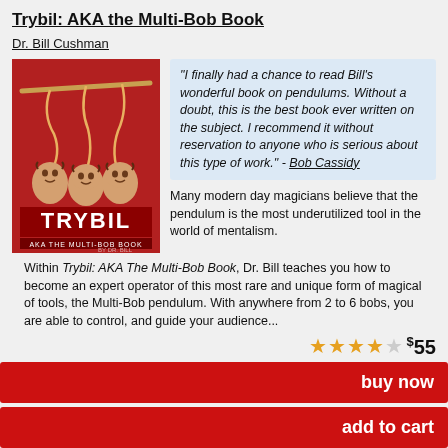Trybil: AKA the Multi-Bob Book
Dr. Bill Cushman
[Figure (photo): Book cover for Trybil: AKA the Multi-Bob Book by Dr. Bill Cushman. Red background with illustrated pendulum-like figures hanging from a bar, faces as pendulum bobs. Title text TRYBIL in large letters, subtitle AKA THE MULTI-BOB BOOK below.]
"I finally had a chance to read Bill's wonderful book on pendulums. Without a doubt, this is the best book ever written on the subject. I recommend it without reservation to anyone who is serious about this type of work." - Bob Cassidy
Many modern day magicians believe that the pendulum is the most underutilized tool in the world of mentalism.
Within Trybil: AKA The Multi-Bob Book, Dr. Bill teaches you how to become an expert operator of this most rare and unique form of magical of tools, the Multi-Bob pendulum. With anywhere from 2 to 6 bobs, you are able to control, and guide your audience...
★★★★☆ $55
buy now
add to cart